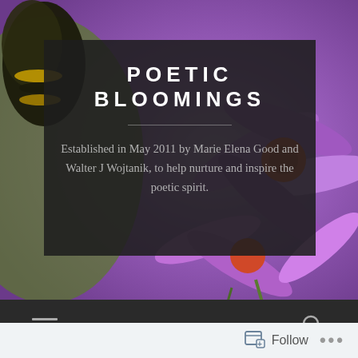[Figure (photo): Close-up photo of purple flowers with a bumblebee on the left side, serving as the hero background image for a blog called Poetic Bloomings]
POETIC BLOOMINGS
Established in May 2011 by Marie Elena Good and Walter J Wojtanik, to help nurture and inspire the poetic spirit.
Follow